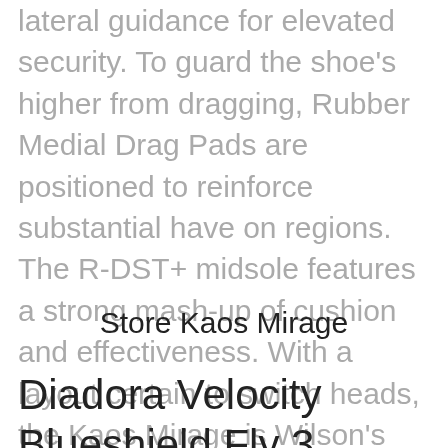lateral guidance for elevated security. To guard the shoe's higher from dragging, Rubber Medial Drag Pads are positioned to reinforce substantial have on regions. The R-DST+ midsole features a strong mash-up of cushion and effectiveness. With a layout certain to switch heads, the Kaos Mirage is Wilson's top match-day shoe, and it is 1 of the most light-weight offerings on the sector.
Store Kaos Mirage
Diadora Velocity Blueshield Fly 3